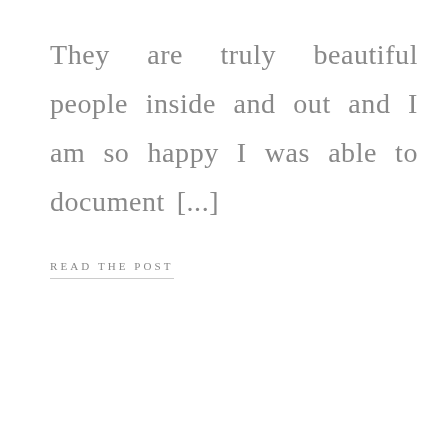They are truly beautiful people inside and out and I am so happy I was able to document [...]
READ THE POST